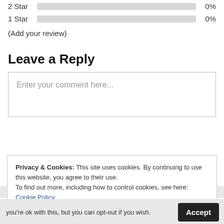[Figure (other): Star rating bar row for '2 Star' showing 0% with a gray progress bar]
1 Star   0%
(Add your review)
Leave a Reply
Enter your comment here...
Privacy & Cookies: This site uses cookies. By continuing to use this website, you agree to their use.
To find out more, including how to control cookies, see here: Cookie Policy
CLOSE AND ACCEPT
you're ok with this, but you can opt-out if you wish.
Accept
Read More